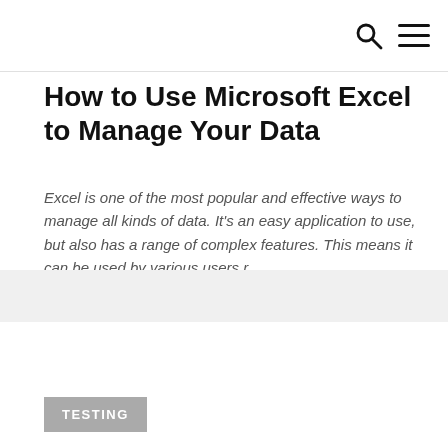How to Use Microsoft Excel to Manage Your Data
Excel is one of the most popular and effective ways to manage all kinds of data. It's an easy application to use, but also has a range of complex features. This means it can be used by various users r…
TESTING